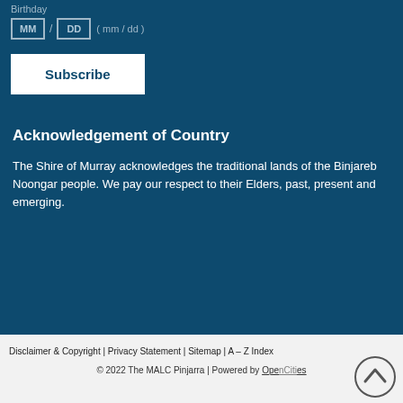Birthday
MM / DD ( mm / dd )
Subscribe
Acknowledgement of Country
The Shire of Murray acknowledges the traditional lands of the Binjareb Noongar people. We pay our respect to their Elders, past, present and emerging.
Disclaimer & Copyright | Privacy Statement | Sitemap | A – Z Index
© 2022 The MALC Pinjarra | Powered by OpenCities